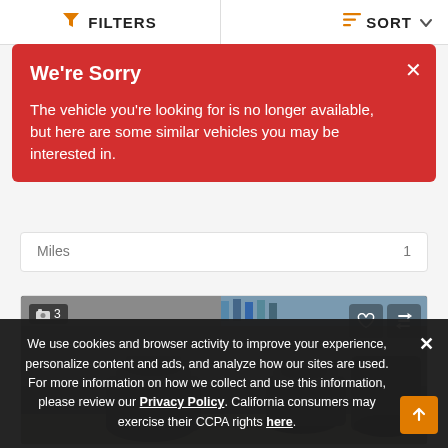FILTERS   SORT
We're Sorry
The vehicle you're looking for is no longer available, but here are some similar vehicles you may be interested in.
Miles   1
[Figure (photo): Interior of a vehicle dealership/store showing multiple ATVs or off-road vehicles parked closely together in a showroom. A photo count badge shows '3' in the top-left corner. Heart and compare icons appear in the top-right.]
We use cookies and browser activity to improve your experience, personalize content and ads, and analyze how our sites are used. For more information on how we collect and use this information, please review our Privacy Policy. California consumers may exercise their CCPA rights here.